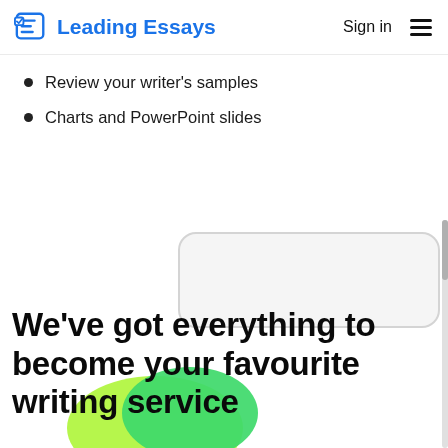Leading Essays | Sign in
Review your writer's samples
Charts and PowerPoint slides
[Figure (illustration): Rounded rectangle card placeholder in light gray on right side]
We've got everything to become your favourite writing service
[Figure (illustration): Two overlapping colored blobs/circles in green and yellow-green at bottom of page]